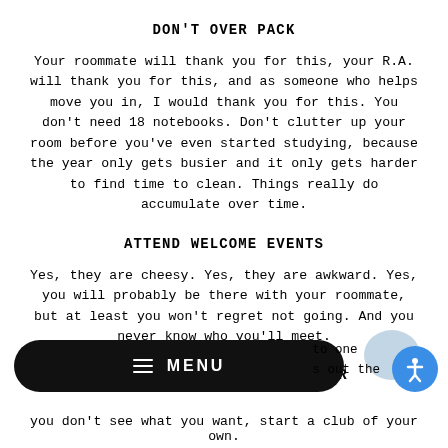DON'T OVER PACK
Your roommate will thank you for this, your R.A. will thank you for this, and as someone who helps move you in, I would thank you for this. You don't need 18 notebooks. Don't clutter up your room before you've even started studying, because the year only gets busier and it only gets harder to find time to clean. Things really do accumulate over time.
ATTEND WELCOME EVENTS
Yes, they are cheesy. Yes, they are awkward. Yes, you will probably be there with your roommate, but at least you won't regret not going. And you never know who you'll meet.
GO TO THE INVOLVEMENT FAIR
to one s out the you don't see what you want, start a club of your own.